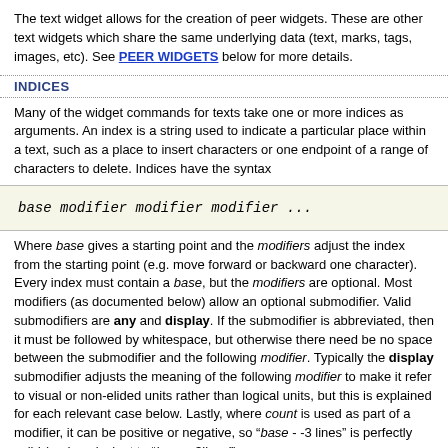The text widget allows for the creation of peer widgets. These are other text widgets which share the same underlying data (text, marks, tags, images, etc). See PEER WIDGETS below for more details.
INDICES
Many of the widget commands for texts take one or more indices as arguments. An index is a string used to indicate a particular place within a text, such as a place to insert characters or one endpoint of a range of characters to delete. Indices have the syntax
Where base gives a starting point and the modifiers adjust the index from the starting point (e.g. move forward or backward one character). Every index must contain a base, but the modifiers are optional. Most modifiers (as documented below) allow an optional submodifier. Valid submodifiers are any and display. If the submodifier is abbreviated, then it must be followed by whitespace, but otherwise there need be no space between the submodifier and the following modifier. Typically the display submodifier adjusts the meaning of the following modifier to make it refer to visual or non-elided units rather than logical units, but this is explained for each relevant case below. Lastly, where count is used as part of a modifier, it can be positive or negative, so “base - -3 lines” is perfectly valid (and equivalent to “base +3lines”).
The base for an index must have one of the following forms:
line.char